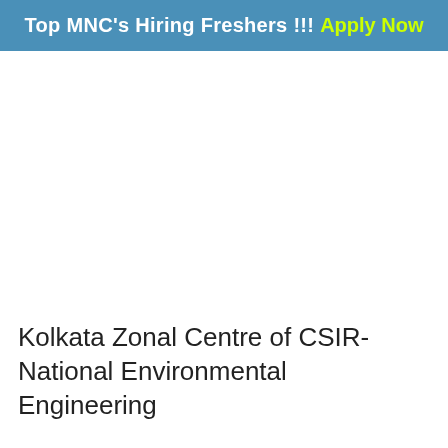Top MNC's Hiring Freshers !!! Apply Now
Kolkata Zonal Centre of CSIR-National Environmental Engineering